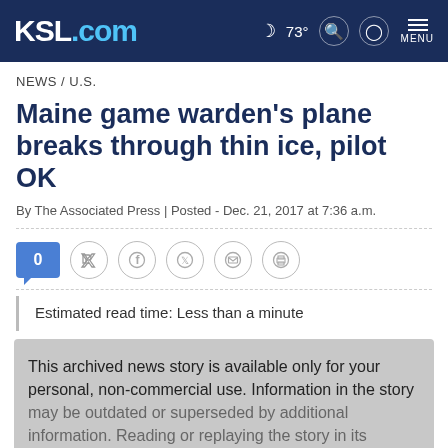KSL.com  73°  MENU
NEWS / U.S.
Maine game warden's plane breaks through thin ice, pilot OK
By The Associated Press | Posted - Dec. 21, 2017 at 7:36 a.m.
0  [social share icons: Facebook, Twitter, Email, Print]
Estimated read time: Less than a minute
This archived news story is available only for your personal, non-commercial use. Information in the story may be outdated or superseded by additional information. Reading or replaying the story in its...
Advertise with us